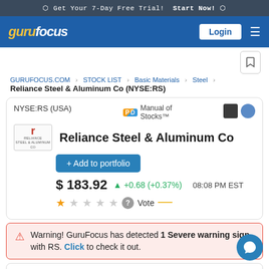⬡ Get Your 7-Day Free Trial! Start Now! ⬡
[Figure (logo): GuruFocus logo in nav bar]
GURUFOCUS.COM > STOCK LIST > Basic Materials > Steel
Reliance Steel & Aluminum Co (NYSE:RS)
NYSE:RS (USA)
Manual of Stocks™
Reliance Steel & Aluminum Co
+ Add to portfolio
$183.92 ▲ +0.68 (+0.37%) 08:08 PM EST
Vote
Warning! GuruFocus has detected 1 Severe warning sign with RS. Click to check it out.
| Metric | Value |
| --- | --- |
| P/E: | 6.0 |
| P/B: | 1.66 |